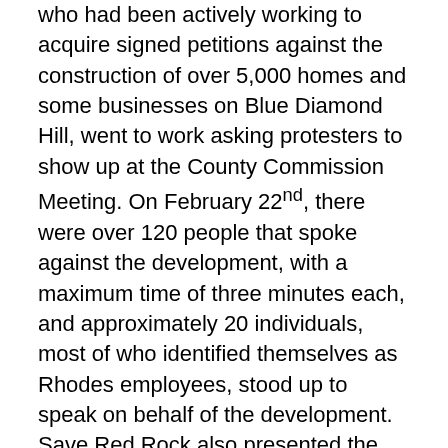who had been actively working to acquire signed petitions against the construction of over 5,000 homes and some businesses on Blue Diamond Hill, went to work asking protesters to show up at the County Commission Meeting. On February 22nd, there were over 120 people that spoke against the development, with a maximum time of three minutes each, and approximately 20 individuals, most of who identified themselves as Rhodes employees, stood up to speak on behalf of the development. Save Red Rock also presented the Commission with 45,000 petitions against a residential development on Blue Diamond Hill.
After seven hours of passionate pleas on behalf of the Save Red Rock group, it was time for the Commissioners to weigh in on the subject. Commissioner Steve Sisolak opened the discussion with a series of questions to the County's legal counsel Robert Warhola, during this